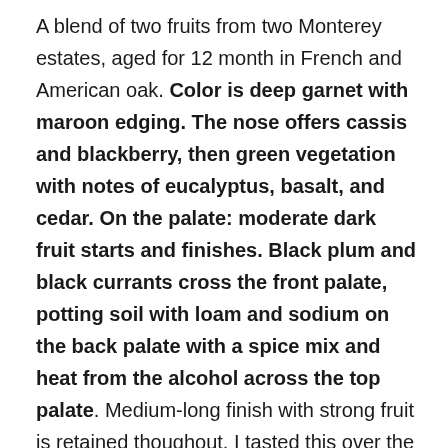A blend of two fruits from two Monterey estates, aged for 12 month in French and American oak. Color is deep garnet with maroon edging. The nose offers cassis and blackberry, then green vegetation with notes of eucalyptus, basalt, and cedar. On the palate: moderate dark fruit starts and finishes. Black plum and black currants cross the front palate, potting soil with loam and sodium on the back palate with a spice mix and heat from the alcohol across the top palate. Medium-long finish with strong fruit is retained thoughout. I tasted this over the course of a week and the fruit profile expanded to full maturity after a couple of days. It was delightfully young upon opening and evolved with air to a nice maturity, so I'd suggest decanting or using an aerator for maximum enjoyment. Ideal pairings with grilled meats and game, my preferred pairing was grilled steak and